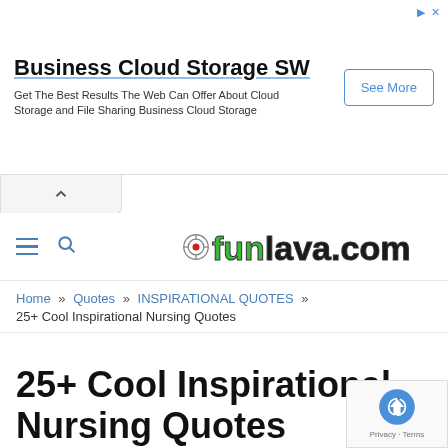[Figure (screenshot): Advertisement banner for Business Cloud Storage SW with headline, subtext, and See More button]
[Figure (logo): funlava.com logo with target icon and stylized green text]
Home » Quotes » INSPIRATIONAL QUOTES » 25+ Cool Inspirational Nursing Quotes
25+ Cool Inspirational Nursing Quotes
INSPIRATIONAL QUOTES
World is beautiful place to live in.In this world we have solutions. We have all the solutions that exist on our planet. The